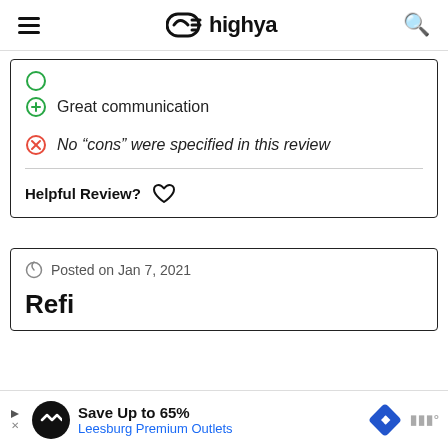highya
Great communication
No “cons” were specified in this review
Helpful Review?
Posted on Jan 7, 2021
Refi
[Figure (other): Advertisement bar: Save Up to 65% - Leesburg Premium Outlets]